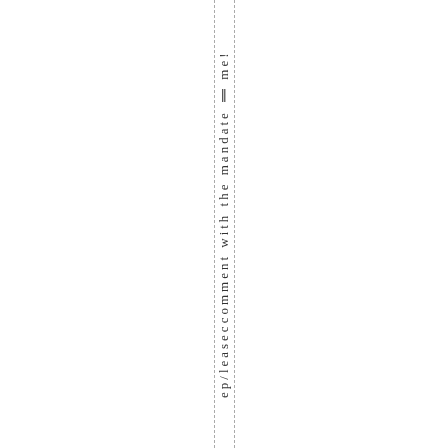ep/leaseccomment with the mandate !! me!